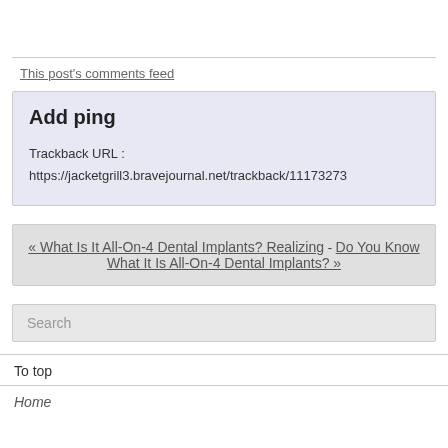This post's comments feed
Add ping
Trackback URL :
https://jacketgrill3.bravejournal.net/trackback/11173273
« What Is It All-On-4 Dental Implants? Realizing - Do You Know What It Is All-On-4 Dental Implants? »
Search
To top
Home